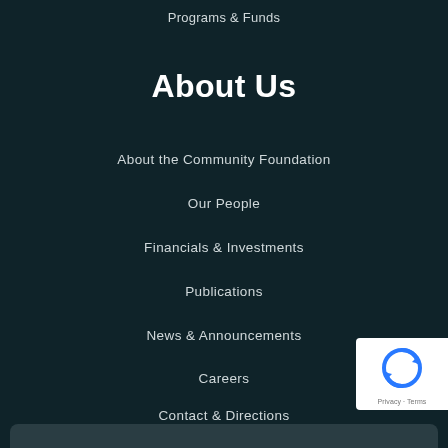Programs & Funds
About Us
About the Community Foundation
Our People
Financials & Investments
Publications
News & Announcements
Careers
Contact & Directions
[Figure (other): reCAPTCHA badge with circular arrow logo and Privacy/Terms links]